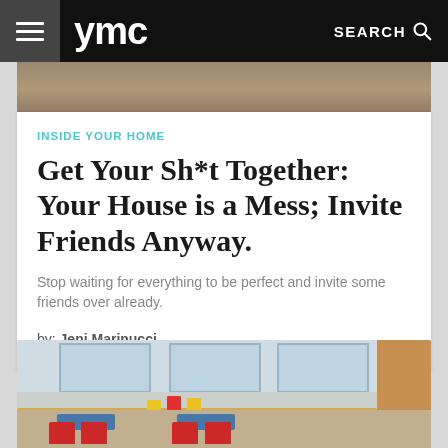ymc  SEARCH
[Figure (photo): Partially visible top photo of blurred warm-toned scene]
INSIDE YOUR HOME
Get Your Sh*t Together: Your House is a Mess; Invite Friends Anyway.
Stop waiting for everything to be perfect and invite some friends over already.
by: Jeni Marinucci
[Figure (photo): Photo of a classroom with red chairs, blue tables, coat hooks with yellow and red jackets, windows in background]